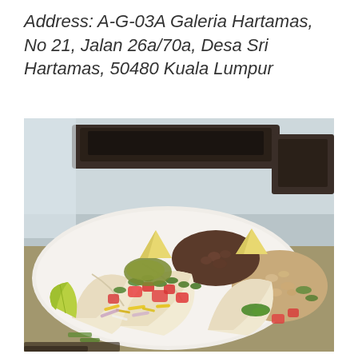Address: A-G-03A Galeria Hartamas, No 21, Jalan 26a/70a, Desa Sri Hartamas, 50480 Kuala Lumpur
[Figure (photo): Close-up photo of tacos on a white plate with toppings including tomatoes, cilantro, cheese, cabbage, lime wedges, and guacamole with tortilla chips. A side of rice and beans is visible. A dark wooden tray is in the background.]